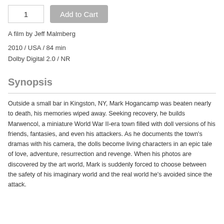1
Add to Cart
A film by Jeff Malmberg
2010 / USA / 84 min
Dolby Digital 2.0 / NR
Synopsis
Outside a small bar in Kingston, NY, Mark Hogancamp was beaten nearly to death, his memories wiped away. Seeking recovery, he builds Marwencol, a miniature World War II-era town filled with doll versions of his friends, fantasies, and even his attackers. As he documents the town's dramas with his camera, the dolls become living characters in an epic tale of love, adventure, resurrection and revenge. When his photos are discovered by the art world, Mark is suddenly forced to choose between the safety of his imaginary world and the real world he's avoided since the attack.